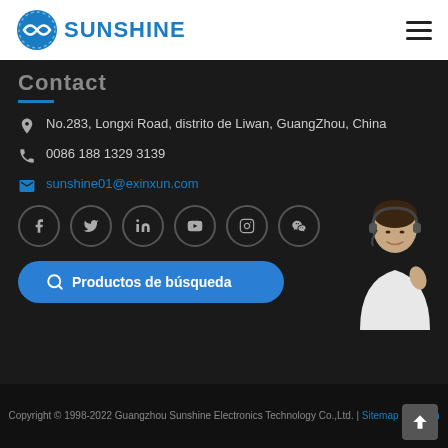SUNSHINE
Contact
No.283, Longxi Road, distrito de Liwan, GuangZhou, China
0086 188 1329 3139
sunshine01@exinxun.com
[Figure (illustration): Social media icons: Facebook, Twitter, LinkedIn, YouTube, Instagram, WeChat]
Productos de búsqueda
[Figure (photo): Customer service representative wearing headset, smiling]
Copyright © 1998-2022 Guangzhou Sunshine Electronics Technology Co.,Ltd. | Sitemap | English